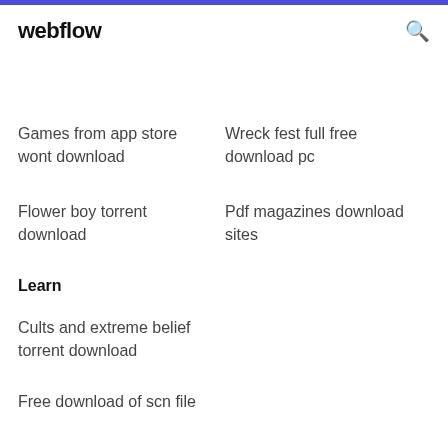webflow
Games from app store wont download
Wreck fest full free download pc
Flower boy torrent download
Pdf magazines download sites
Learn
Cults and extreme belief torrent download
Free download of scn file